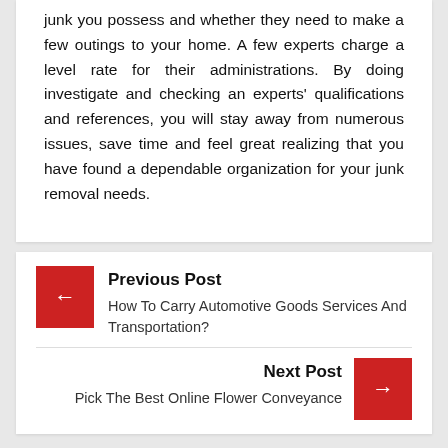junk you possess and whether they need to make a few outings to your home. A few experts charge a level rate for their administrations. By doing investigate and checking an experts' qualifications and references, you will stay away from numerous issues, save time and feel great realizing that you have found a dependable organization for your junk removal needs.
Previous Post
How To Carry Automotive Goods Services And Transportation?
Next Post
Pick The Best Online Flower Conveyance